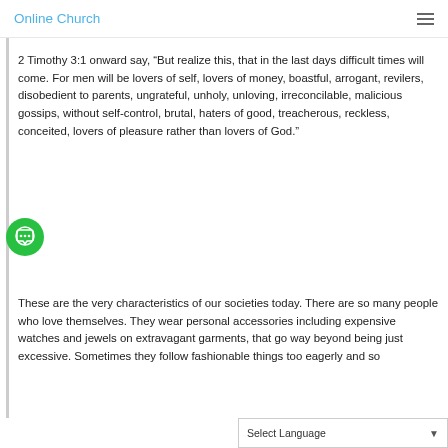Online Church
2 Timothy 3:1 onward say, “But realize this, that in the last days difficult times will come. For men will be lovers of self, lovers of money, boastful, arrogant, revilers, disobedient to parents, ungrateful, unholy, unloving, irreconcilable, malicious gossips, without self-control, brutal, haters of good, treacherous, reckless, conceited, lovers of pleasure rather than lovers of God.”
These are the very characteristics of our societies today. There are so many people who love themselves. They wear personal accessories including expensive watches and jewels on extravagant garments, that go way beyond being just excessive. Sometimes they follow fashionable things too eagerly and so